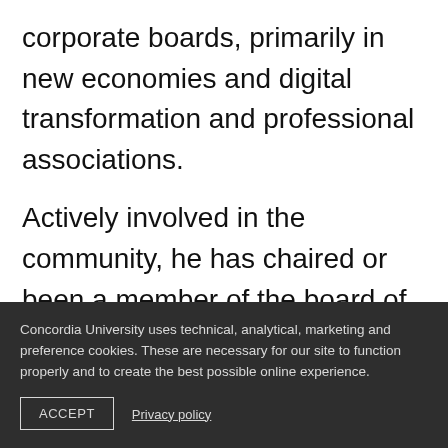corporate boards, primarily in new economies and digital transformation and professional associations.
Actively involved in the community, he has chaired or been a member of the board of more than 25 publicly listed, not-for-profit and privately held companies, and continues to act
Concordia University uses technical, analytical, marketing and preference cookies. These are necessary for our site to function properly and to create the best possible online experience.
ACCEPT
Privacy policy